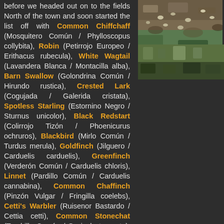before we headed out on to the fields North of the town and soon started the list off with Common Chiffchaff (Mosquitero Común / Phylloscopus collybita), Robin (Petirrojo Europeo / Erithacus rubecula), White Wagtail (Lavandera Blanca / Montacilla alba), Barn Swallow (Golondrina Común / Hirundo rustica), Crested Lark (Cogujada / Galerida cristata), Spotless Starling (Estornino Negro / Sturnus unicolor), Black Redstart (Colirrojo Tizón / Phoenicurus ochruros), Blackbird (Mirlo Común / Turdus merula), Goldfinch (Jilguero / Carduelis carduelis), Greenfinch (Verderón Común / Carduelis chloris), Linnet (Pardillo Común / Carduelis cannabina), Common Chaffinch (Pinzón Vulgar / Fringilla coelebs), Cetti's Warbler (Ruisenor Bastardo / Cettia cetti), Common Stonechat (Tarabilla Común / Saxicola torquata), Zitting Cisticola (Buitrón / Cisticola juncidis) and Little Ringed Plover (Chorlitejo Chico / Charadrius dubius).
[Figure (photo): Aerial photograph of Little Bustards on a field, showing multiple birds on brown and green ground.]
Little Bustards (Sisón Común / Tetrax tetrax).
We moved out on
[Figure (photo): Photograph of green vegetation/grassland habitat.]